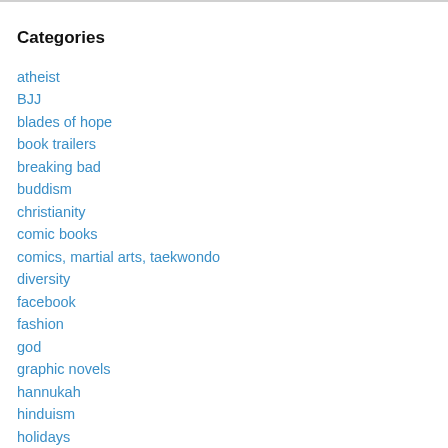Categories
atheist
BJJ
blades of hope
book trailers
breaking bad
buddism
christianity
comic books
comics, martial arts, taekwondo
diversity
facebook
fashion
god
graphic novels
hannukah
hinduism
holidays